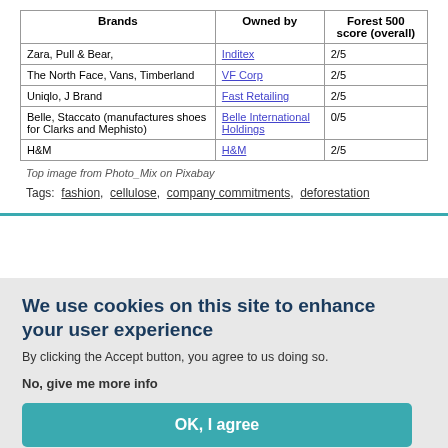| Brands | Owned by | Forest 500 score (overall) |
| --- | --- | --- |
| Zara, Pull & Bear, | Inditex | 2/5 |
| The North Face, Vans, Timberland | VF Corp | 2/5 |
| Uniqlo, J Brand | Fast Retailing | 2/5 |
| Belle, Staccato (manufactures shoes for Clarks and Mephisto) | Belle International Holdings | 0/5 |
| H&M | H&M | 2/5 |
Top image from Photo_Mix on Pixabay
Tags:  fashion,  cellulose,  company commitments,  deforestation
We use cookies on this site to enhance your user experience
By clicking the Accept button, you agree to us doing so.
No, give me more info
OK, I agree
No, thanks